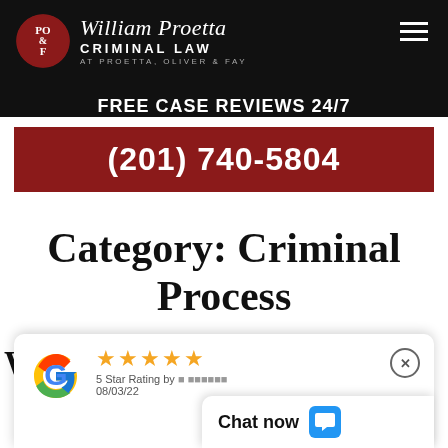[Figure (logo): William Proetta Criminal Law logo with PO&F circle emblem on black background]
FREE CASE REVIEWS 24/7
(201) 740-5804
Category: Criminal Process
[Figure (screenshot): Google review widget showing 5 star rating dated 08/03/22 with chat now button overlay]